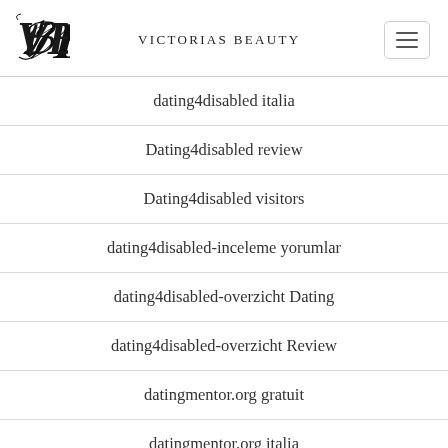Victorias Beauty
dating4disabled italia
Dating4disabled review
Dating4disabled visitors
dating4disabled-inceleme yorumlar
dating4disabled-overzicht Dating
dating4disabled-overzicht Review
datingmentor.org gratuit
datingmentor.org italia
datingmentor.org Log in